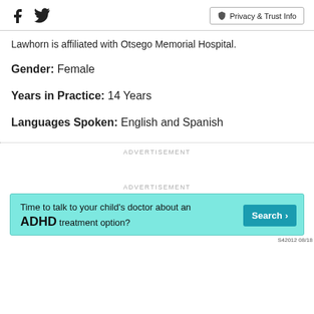Facebook icon, Twitter icon, Privacy & Trust Info
Lawhorn is affiliated with Otsego Memorial Hospital.
Gender: Female
Years in Practice: 14 Years
Languages Spoken: English and Spanish
ADVERTISEMENT
ADVERTISEMENT
[Figure (other): Advertisement banner: teal background with text 'Time to talk to your child's doctor about an ADHD treatment option?' with a blue Search button and disclaimer 'S42012 08/18']